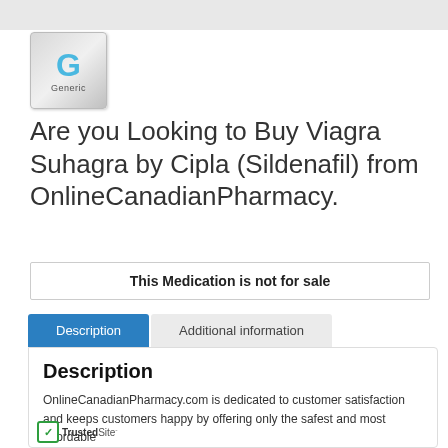[Figure (logo): Generic G logo — grey metallic square with a blue G letter and 'Generic' text below]
Are you Looking to Buy Viagra Suhagra by Cipla (Sildenafil) from OnlineCanadianPharmacy.
This Medication is not for sale
Description
Additional information
Description
OnlineCanadianPharmacy.com is dedicated to customer satisfaction and keeps customers happy by offering only the safest and most affordable gra Suhagra by Cipla. Viagra Suhagra by Cipla